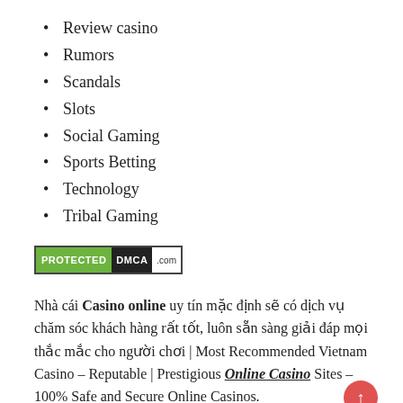Review casino
Rumors
Scandals
Slots
Social Gaming
Sports Betting
Technology
Tribal Gaming
[Figure (logo): DMCA Protected badge with green PROTECTED label and black DMCA label and .com text]
Nhà cái Casino online uy tín mặc định sẽ có dịch vụ chăm sóc khách hàng rất tốt, luôn sẵn sàng giải đáp mọi thắc mắc cho người chơi | Most Recommended Vietnam Casino – Reputable | Prestigious Online Casino Sites – 100% Safe and Secure Online Casinos.